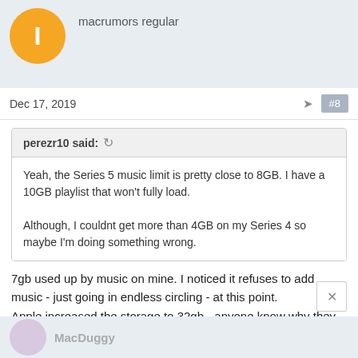macrumors regular
Dec 17, 2019
#8
perezr10 said:
Yeah, the Series 5 music limit is pretty close to 8GB. I have a 10GB playlist that won't fully load.

Although, I couldnt get more than 4GB on my Series 4 so maybe I'm doing something wrong.
7gb used up by music on mine. I noticed it refuses to add music - just going in endless circling - at this point.
Apple increased the storage to 32gb - anyone know why they did it?
Surely cant be for running apps et all as they dont take much space
MacDuggy